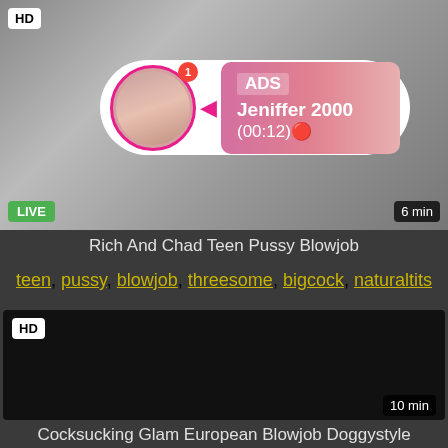[Figure (screenshot): Video thumbnail with HD badge, LIVE badge, ad overlay showing avatar with notification, pink ad box with ADS label, name Jeniffer 2000, time (00:12), and duration 6 min]
Rich And Chad Teen Pussy Blowjob
teen, pussy, blowjob, threesome, bigcock, naturaltits
[Figure (screenshot): Black video thumbnail with HD badge and 10 min duration label]
Cocksucking Glam European Blowjob Doggystyle